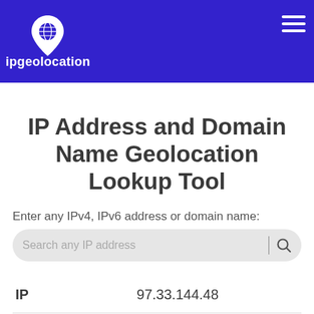[Figure (logo): ipgeolocation logo with globe location pin icon and site name text on blue header background]
IP Address and Domain Name Geolocation Lookup Tool
Enter any IPv4, IPv6 address or domain name:
| Field | Value |
| --- | --- |
| IP | 97.33.144.48 |
| Hostname | 48.sub-97-33- |